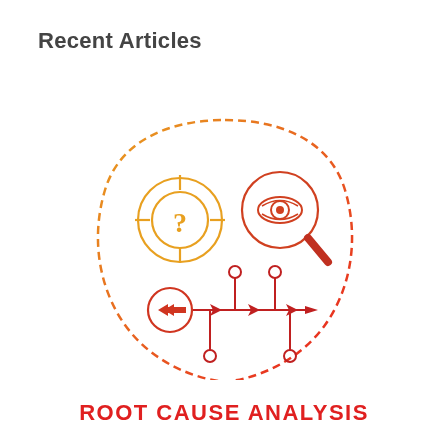Recent Articles
[Figure (illustration): Root cause analysis concept icon showing three elements inside a dashed shield/badge shape: a target crosshair circle with a question mark (orange), a magnifying glass with an eye (orange-red gradient), and a process flow diagram with arrow shapes and nodes (red). The illustration uses an orange-to-red gradient color scheme.]
ROOT CAUSE ANALYSIS